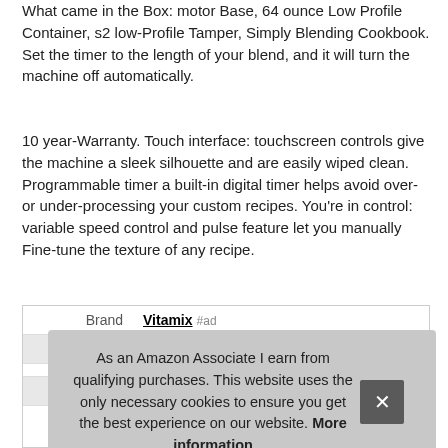What came in the Box: motor Base, 64 ounce Low Profile Container, s2 low-Profile Tamper, Simply Blending Cookbook. Set the timer to the length of your blend, and it will turn the machine off automatically.
10 year-Warranty. Touch interface: touchscreen controls give the machine a sleek silhouette and are easily wiped clean. Programmable timer a built-in digital timer helps avoid over- or under-processing your custom recipes. You’re in control: variable speed control and pulse feature let you manually Fine-tune the texture of any recipe.
|  |  |
| --- | --- |
| Brand | Vitamix #ad |
| Ma... |  |
|  |  |
| Weight | 10 Pounds |
As an Amazon Associate I earn from qualifying purchases. This website uses the only necessary cookies to ensure you get the best experience on our website. More information